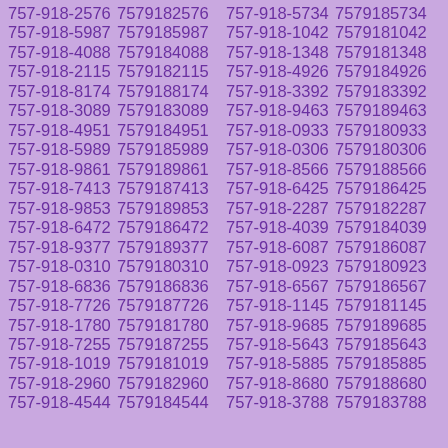757-918-2576 7579182576 757-918-5734 7579185734 757-918-5987 7579185987 757-918-1042 7579181042 757-918-4088 7579184088 757-918-1348 7579181348 757-918-2115 7579182115 757-918-4926 7579184926 757-918-8174 7579188174 757-918-3392 7579183392 757-918-3089 7579183089 757-918-9463 7579189463 757-918-4951 7579184951 757-918-0933 7579180933 757-918-5989 7579185989 757-918-0306 7579180306 757-918-9861 7579189861 757-918-8566 7579188566 757-918-7413 7579187413 757-918-6425 7579186425 757-918-9853 7579189853 757-918-2287 7579182287 757-918-6472 7579186472 757-918-4039 7579184039 757-918-9377 7579189377 757-918-6087 7579186087 757-918-0310 7579180310 757-918-0923 7579180923 757-918-6836 7579186836 757-918-6567 7579186567 757-918-7726 7579187726 757-918-1145 7579181145 757-918-1780 7579181780 757-918-9685 7579189685 757-918-7255 7579187255 757-918-5643 7579185643 757-918-1019 7579181019 757-918-5885 7579185885 757-918-2960 7579182960 757-918-8680 7579188680 757-918-4544 7579184544 757-918-3788 7579183788